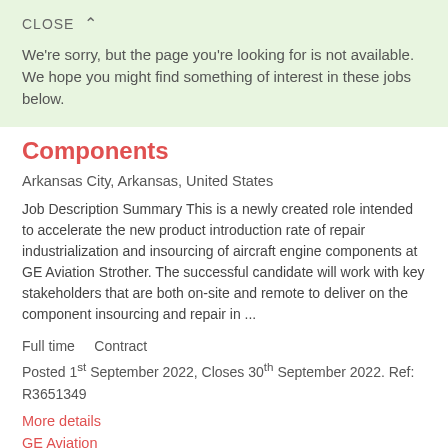CLOSE ^
We're sorry, but the page you're looking for is not available. We hope you might find something of interest in these jobs below.
Components
Arkansas City, Arkansas, United States
Job Description Summary This is a newly created role intended to accelerate the new product introduction rate of repair industrialization and insourcing of aircraft engine components at GE Aviation Strother. The successful candidate will work with key stakeholders that are both on-site and remote to deliver on the component insourcing and repair in ...
Full time    Contract
Posted 1st September 2022, Closes 30th September 2022. Ref: R3651349
More details
GE Aviation